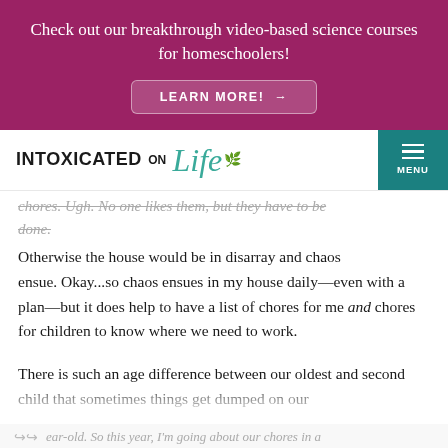Check out our breakthrough video-based science courses for homeschoolers!
LEARN MORE! →
INTOXICATED ON Life
chores. Ugh. No one likes them, but they have to be done. Otherwise the house would be in disarray and chaos ensue. Okay...so chaos ensues in my house daily—even with a plan—but it does help to have a list of chores for me and chores for children to know where we need to work.
There is such an age difference between our oldest and second child that sometimes things get dumped on our